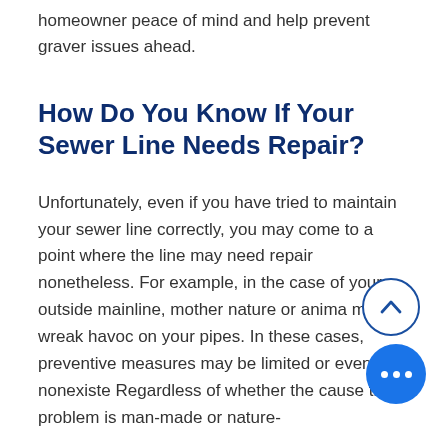homeowner peace of mind and help prevent graver issues ahead.
How Do You Know If Your Sewer Line Needs Repair?
Unfortunately, even if you have tried to maintain your sewer line correctly, you may come to a point where the line may need repair nonetheless. For example, in the case of your outside mainline, mother nature or animals may wreak havoc on your pipes. In these cases, preventive measures may be limited or even nonexistent. Regardless of whether the cause of the problem is man-made or nature-